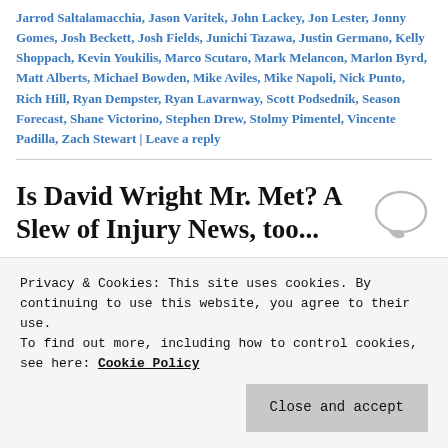Jarrod Saltalamacchia, Jason Varitek, John Lackey, Jon Lester, Jonny Gomes, Josh Beckett, Josh Fields, Junichi Tazawa, Justin Germano, Kelly Shoppach, Kevin Youkilis, Marco Scutaro, Mark Melancon, Marlon Byrd, Matt Alberts, Michael Bowden, Mike Aviles, Mike Napoli, Nick Punto, Rich Hill, Ryan Dempster, Ryan Lavarnway, Scott Podsednik, Season Forecast, Shane Victorino, Stephen Drew, Stolmy Pimentel, Vincente Padilla, Zach Stewart | Leave a reply
Is David Wright Mr. Met? A Slew of Injury News, too...
Privacy & Cookies: This site uses cookies. By continuing to use this website, you agree to their use. To find out more, including how to control cookies, see here: Cookie Policy